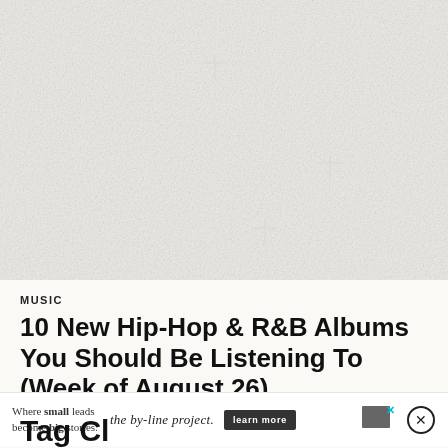[Figure (photo): Faded/washed out hero image with white/light grey fur-like texture and cross symbols visible, used as article header image]
MUSIC
10 New Hip-Hop & R&B Albums You Should Be Listening To (Week of August 26)
4 DAYS AGO
[Figure (infographic): Advertisement bar: 'Where small leads become big stories.' | the by-line project. | learn more button | ad icon with X | close circle button]
Tag Cl…